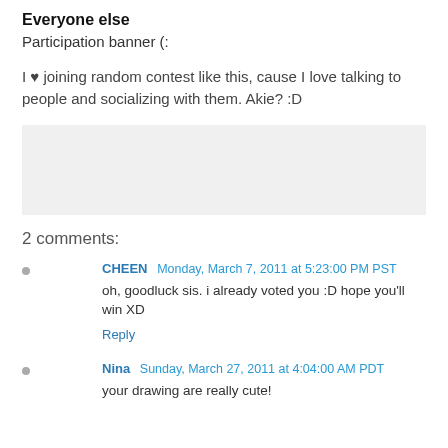Everyone else
Participation banner (:
I ♥ joining random contest like this, cause I love talking to people and socializing with them. Akie? :D
[Figure (other): Gray placeholder box]
2 comments:
CHEEN  Monday, March 7, 2011 at 5:23:00 PM PST
oh, goodluck sis. i already voted you :D hope you'll win XD
Reply
Nina  Sunday, March 27, 2011 at 4:04:00 AM PDT
your drawing are really cute!